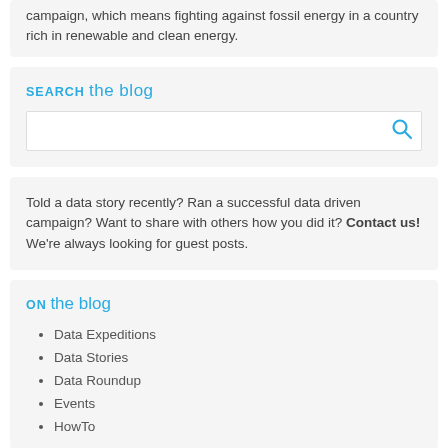campaign, which means fighting against fossil energy in a country rich in renewable and clean energy.
SEARCH the blog
[search box]
Told a data story recently? Ran a successful data driven campaign? Want to share with others how you did it? Contact us! We're always looking for guest posts.
ON the blog
Data Expeditions
Data Stories
Data Roundup
Events
HowTo